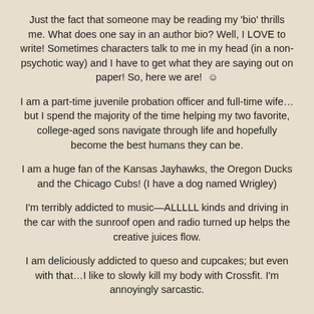Just the fact that someone may be reading my 'bio' thrills me. What does one say in an author bio? Well, I LOVE to write! Sometimes characters talk to me in my head (in a non-psychotic way) and I have to get what they are saying out on paper! So, here we are!  ☺
I am a part-time juvenile probation officer and full-time wife… but I spend the majority of the time helping my two favorite, college-aged sons navigate through life and hopefully become the best humans they can be.
I am a huge fan of the Kansas Jayhawks, the Oregon Ducks and the Chicago Cubs! (I have a dog named Wrigley)
I'm terribly addicted to music—ALLLLL kinds and driving in the car with the sunroof open and radio turned up helps the creative juices flow.
I am deliciously addicted to queso and cupcakes; but even with that…I like to slowly kill my body with Crossfit. I'm annoyingly sarcastic.